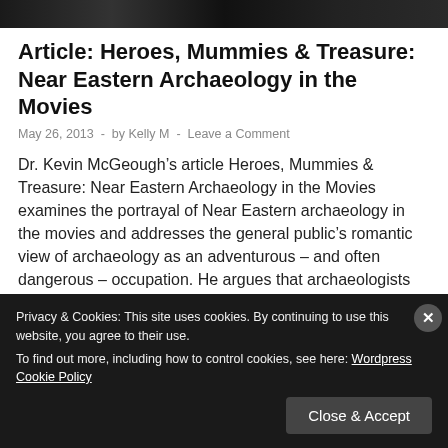[Figure (photo): Dark photo strip at the top of the page showing a scene from a movie]
Article: Heroes, Mummies & Treasure: Near Eastern Archaeology in the Movies
May 26, 2013  -  by Kelly M  -  Leave a Comment
Dr. Kevin McGeough’s article Heroes, Mummies & Treasure: Near Eastern Archaeology in the Movies examines the portrayal of Near Eastern archaeology in the movies and addresses the general public’s romantic view of archaeology as an adventurous – and often dangerous – occupation. He argues that archaeologists can better understand the public’s …
Privacy & Cookies: This site uses cookies. By continuing to use this website, you agree to their use.
To find out more, including how to control cookies, see here: Wordpress Cookie Policy
Close & Accept